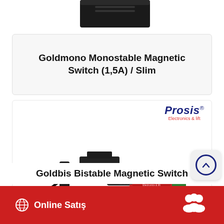[Figure (photo): Partial view of a black electronic device (top cropped)]
Goldmono Monostable Magnetic Switch (1,5A) / Slim
[Figure (logo): Prosis Electronics & lift logo in blue italic text with red subtitle]
[Figure (photo): Goldbis bistable magnetic switch product with black mounting bracket and Prosis-branded red/green cylindrical sensor]
Goldbis Bistable Magnetic Switch
Online Satış